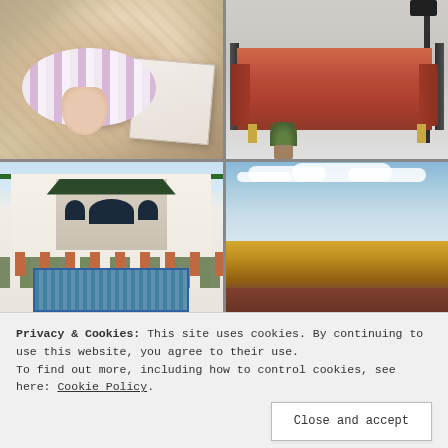[Figure (photo): Overhead flatlay photo showing a hand holding a coffee cup on a striped plate, with a magazine, golden tray, and Moroccan berber rug in background]
[Figure (photo): Interior design photo of a rust/terracotta coloured mid-century sofa with dark wood and cane frame, floor lamp, and small potted plant on grey background]
[Figure (photo): Moroccan courtyard with white building facade, green tiled roof, arched doorways with blue mosaic tiles, pool/fountain, terracotta pots and plants]
[Figure (photo): Open heathland landscape with cloudy sky, golden grassy plains, reddish earth and scrubby bushes in the foreground]
Privacy & Cookies: This site uses cookies. By continuing to use this website, you agree to their use.
To find out more, including how to control cookies, see here: Cookie Policy
Close and accept